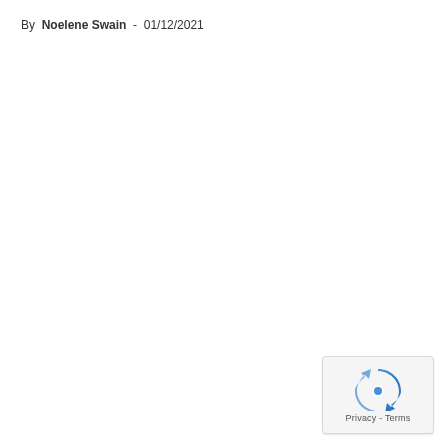By  Noelene Swain  -  01/12/2021
[Figure (logo): reCAPTCHA widget showing a blue arrow recycling-style icon with 'Privacy - Terms' text below, in a rounded rectangle box]